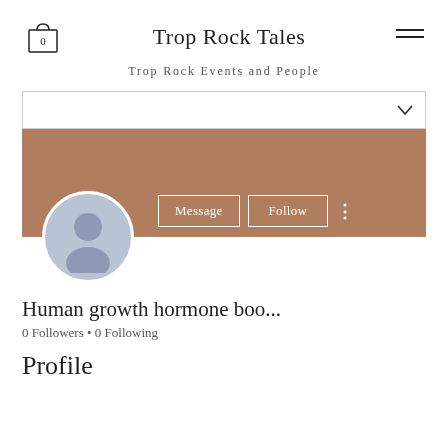Trop Rock Tales
Trop Rock Events and People
[Figure (screenshot): Dropdown/filter bar with chevron]
[Figure (photo): Brown cover banner with user avatar silhouette, Message button, Follow button, and three-dot menu]
Human growth hormone boo...
0 Followers • 0 Following
Profile